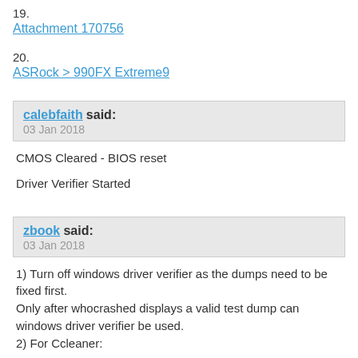19.
Attachment 170756
20.
ASRock > 990FX Extreme9
calebfaith said:
03 Jan 2018
CMOS Cleared - BIOS reset

Driver Verifier Started
zbook said:
03 Jan 2018
1) Turn off windows driver verifier as the dumps need to be fixed first.
Only after whocrashed displays a valid test dump can windows driver verifier be used.
2) For Ccleaner: